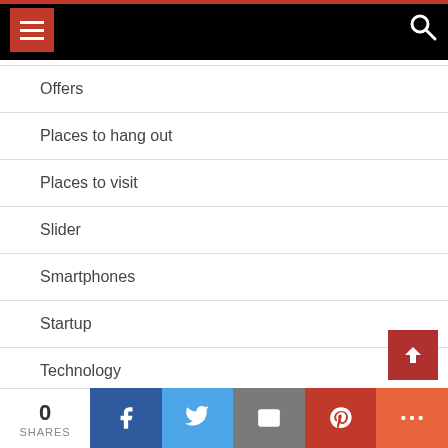Navigation header with hamburger menu and search icon
Offers
Places to hang out
Places to visit
Slider
Smartphones
Startup
Technology
Uncategorized
0 SHARES | Facebook | Twitter | Email | Pinterest | More